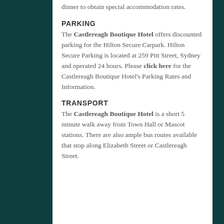dinner to obtain special accommodation rates.
PARKING
The Castlereagh Boutique Hotel offers discounted parking for the Hilton Secure Carpark. Hilton Secure Parking is located at 259 Pitt Street, Sydney and operated 24 hours. Please click here for the Castlereagh Boutique Hotel's Parking Rates and Information.
TRANSPORT
The Castlereagh Boutique Hotel is a short 5 minute walk away from Town Hall or Mascot stations. There are also ample bus routes available that stop along Elizabeth Street or Castlereagh Street.